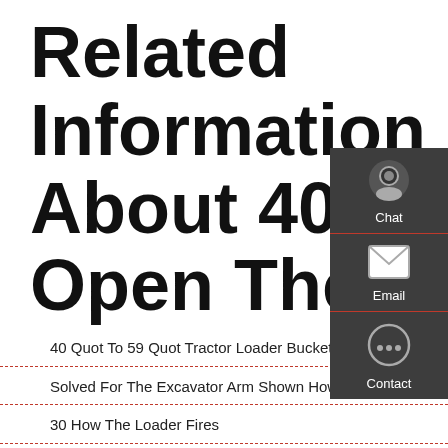Related Information About 40 How To Open The Loader
40 Quot To 59 Quot Tractor Loader Buckets - Nationa…
Solved For The Excavator Arm Shown How Many Unique
30 How The Loader Fires
Excavator Forestry Mulcher How Much Does It Pay
Tomporary Strike How To Quickly Repair Site Loader